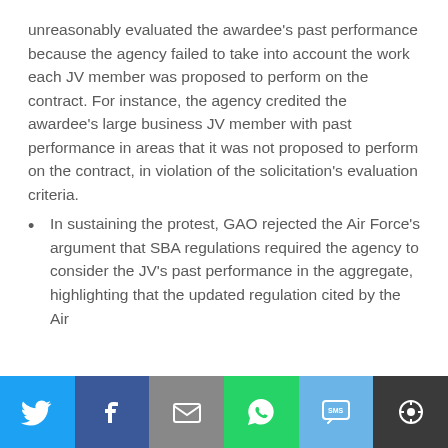unreasonably evaluated the awardee's past performance because the agency failed to take into account the work each JV member was proposed to perform on the contract. For instance, the agency credited the awardee's large business JV member with past performance in areas that it was not proposed to perform on the contract, in violation of the solicitation's evaluation criteria.
In sustaining the protest, GAO rejected the Air Force's argument that SBA regulations required the agency to consider the JV's past performance in the aggregate, highlighting that the updated regulation cited by the Air